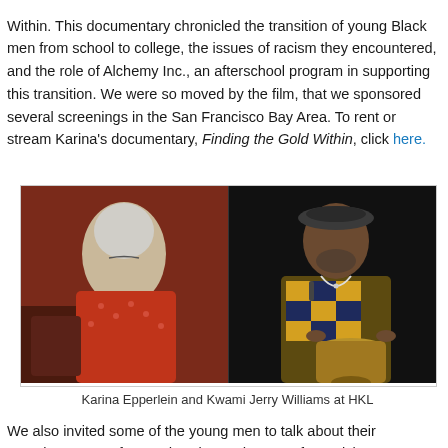Within. This documentary chronicled the transition of young Black men from school to college, the issues of racism they encountered, and the role of Alchemy Inc., an afterschool program in supporting this transition. We were so moved by the film, that we sponsored several screenings in the San Francisco Bay Area. To rent or stream Karina's documentary, Finding the Gold Within, click here.
[Figure (photo): Karina Epperlein (woman with white/gray hair, wearing red patterned jacket, seated) and Kwami Jerry Williams (man wearing beret and colorful patterned shirt, playing a djembe drum) at HKL event.]
Karina Epperlein and Kwami Jerry Williams at HKL
We also invited some of the young men to talk about their experiences. We featured Karina, a drummer from Alchemy Inc., Kwami Williams, and Simpson (a young poet featured in the documentary) at our How Kids Learn Conferences.